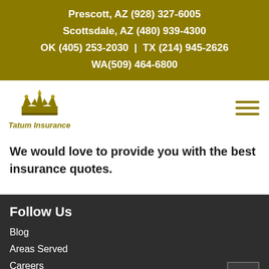Prescott, AZ (928) 327-6005
Scottsdale, AZ (480) 939-4300
OK (405) 253-2030 | TX (214) 945-2626
WA(509) 464-6800
[Figure (logo): Tatum Insurance crown logo with text 'Tatum Insurance']
We would love to provide you with the best insurance quotes.
Follow Us
Blog
Areas Served
Careers
Client Portal